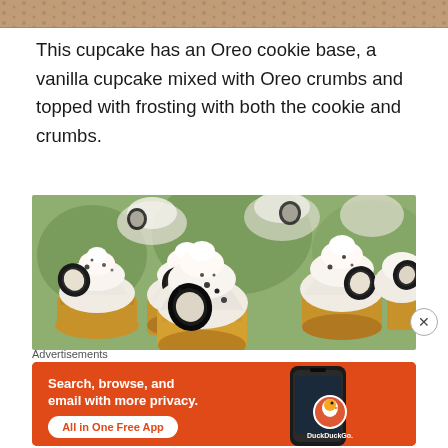[Figure (photo): Top portion of a food photo showing what appears to be a decorated dessert with chocolate and cream elements, cropped at the top of the page]
This cupcake has an Oreo cookie base, a vanilla cupcake mixed with Oreo crumbs and topped with frosting with both the cookie and crumbs.
[Figure (photo): Photo of multiple Oreo cupcakes with white frosting swirls, topped with Oreo cookie pieces and dark crumbs, arranged on a white surface]
Advertisements
[Figure (screenshot): DuckDuckGo advertisement banner with orange background showing text 'Search, browse, and email with more privacy. All in One Free App' with a phone mockup and DuckDuckGo duck logo]